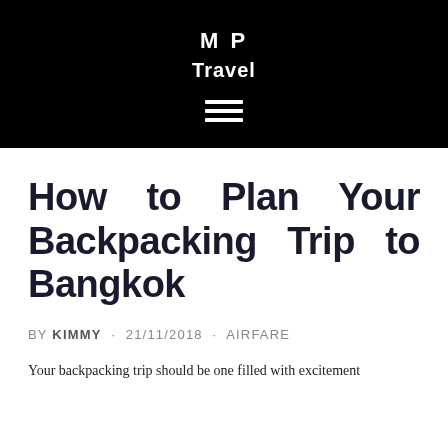M P
Travel
How to Plan Your Backpacking Trip to Bangkok
BY KIMMY · 21/11/2018 · AIRFARE
Your backpacking trip should be one filled with excitement